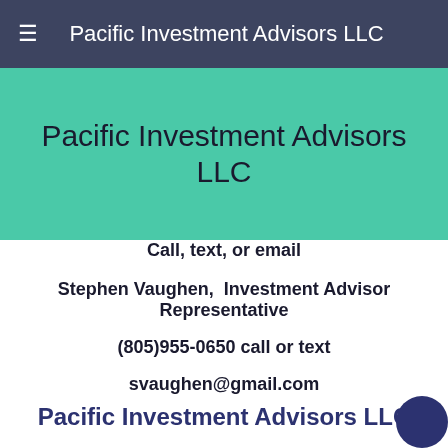Pacific Investment Advisors LLC
Pacific Investment Advisors LLC
Call, text, or email
Stephen Vaughen,  Investment Advisor Representative
(805)955-0650 call or text
svaughen@gmail.com
Pacific Investment Advisors LLC